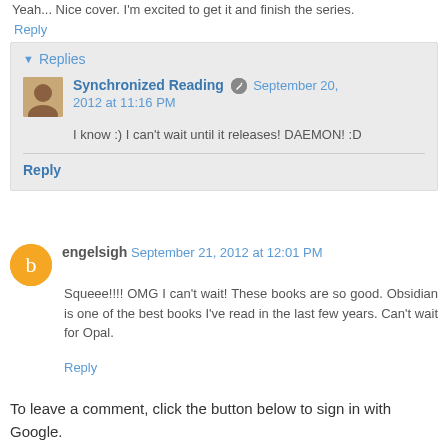Yeah... Nice cover. I'm excited to get it and finish the series.
Reply
▾ Replies
Synchronized Reading  September 20, 2012 at 11:16 PM
I know :) I can't wait until it releases! DAEMON! :D
Reply
engelsigh  September 21, 2012 at 12:01 PM
Squeee!!!! OMG I can't wait! These books are so good. Obsidian is one of the best books I've read in the last few years. Can't wait for Opal.
Reply
To leave a comment, click the button below to sign in with Google.